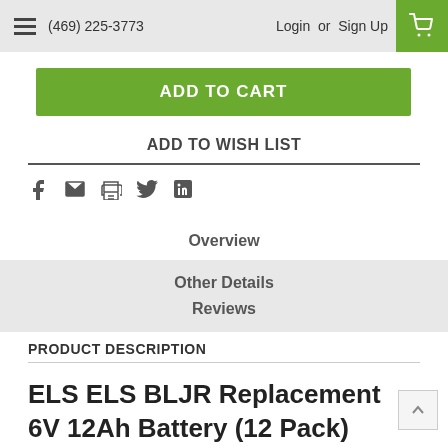(469) 225-3773  Login or Sign Up
ADD TO CART
ADD TO WISH LIST
Overview
Other Details
Reviews
PRODUCT DESCRIPTION
ELS ELS BLJR Replacement 6V 12Ah Battery (12 Pack)